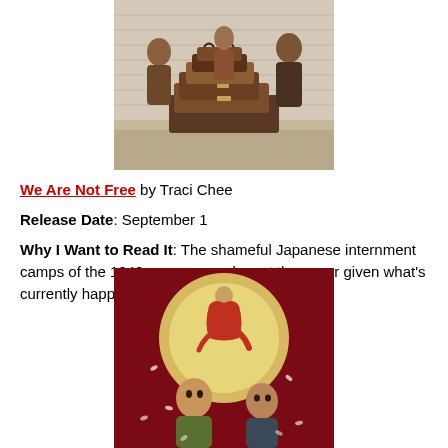[Figure (photo): Historical photograph of Japanese American family with stacked luggage/suitcases, likely during WWII Japanese internment period]
We Are Not Free by Traci Chee
Release Date: September 1
Why I Want to Read It: The shameful Japanese internment camps of the 1940s are more relevant than ever given what's currently happening in the U.S.
[Figure (illustration): Book cover illustration showing three figures against a dark red background with a glowing moon circle behind them. A cloaked figure stands on top, with two young men in front.]